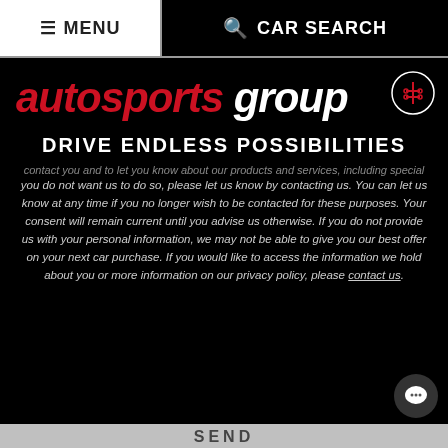≡ MENU   🔍 CAR SEARCH
[Figure (logo): Autosports Group logo with red italic 'autosports' and white italic 'group' text, with a gear/transmission icon in a circle top right]
DRIVE ENDLESS POSSIBILITIES
contact you and to let you know about our products and services, including special offers. If you do not want us to do so, please let us know by contacting us. You can let us know at any time if you no longer wish to be contacted for these purposes. Your consent will remain current until you advise us otherwise. If you do not provide us with your personal information, we may not be able to give you our best offer on your next car purchase. If you would like to access the information we hold about you or more information on our privacy policy, please contact us.
SEND